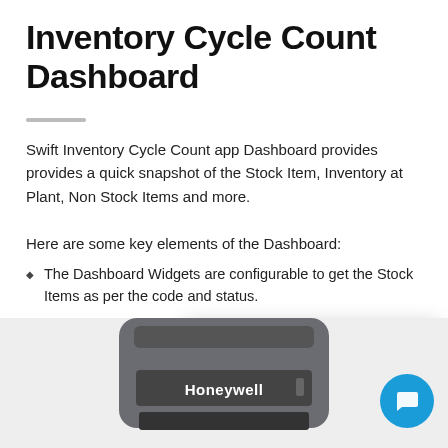Inventory Cycle Count Dashboard
Swift Inventory Cycle Count app Dashboard provides provides a quick snapshot of the Stock Item, Inventory at Plant, Non Stock Items and more.
Here are some key elements of the Dashboard:
The Dashboard Widgets are configurable to get the Stock Items as per the code and status.
The Widgets are drill-do... Availability widget takes... Availability details.
[Figure (screenshot): Popup dialog with Edna logo and text 'Great to have you here today!' with a close (x) button]
[Figure (photo): Honeywell handheld device (barcode scanner) shown from the top, with Honeywell branding on the front panel]
[Figure (other): Blue circular chat button with speech bubble icon in bottom right corner]